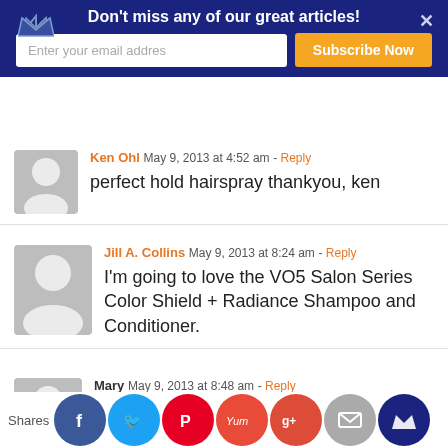Don't miss any of our great articles! [email subscription banner with Subscribe Now button]
Ken Ohl  May 9, 2013 at 4:52 am  - Reply
perfect hold hairspray thankyou, ken
Jill A. Collins  May 9, 2013 at 8:24 am  - Reply
I'm going to love the VO5 Salon Series Color Shield + Radiance Shampoo and Conditioner.
Mary  May 9, 2013 at 8:48 am  - Reply
I would love the VO5 Salon Series Total Recovery Deep Conditioning Hair Ma…
Shares [social share icons: Facebook, Twitter, Pinterest, Yum, Google+, Email, Crown]